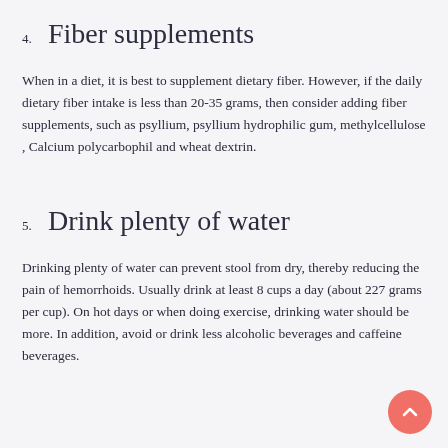4. Fiber supplements
When in a diet, it is best to supplement dietary fiber. However, if the daily dietary fiber intake is less than 20-35 grams, then consider adding fiber supplements, such as psyllium, psyllium hydrophilic gum, methylcellulose , Calcium polycarbophil and wheat dextrin.
5. Drink plenty of water
Drinking plenty of water can prevent stool from dry, thereby reducing the pain of hemorrhoids. Usually drink at least 8 cups a day (about 227 grams per cup). On hot days or when doing exercise, drinking water should be more. In addition, avoid or drink less alcoholic beverages and caffeine beverages.